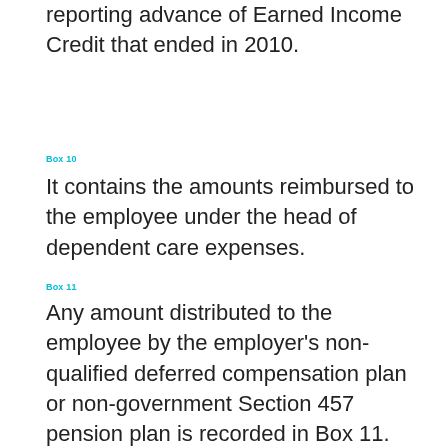reporting advance of Earned Income Credit that ended in 2010.
Box 10
It contains the amounts reimbursed to the employee under the head of dependent care expenses.
Box 11
Any amount distributed to the employee by the employer's non-qualified deferred compensation plan or non-government Section 457 pension plan is recorded in Box 11.
[Figure (other): Advertisement banner showing a restaurant logo with chef icon, dine-in and curbside pickup checkmarks, and a navigation arrow diamond icon.]